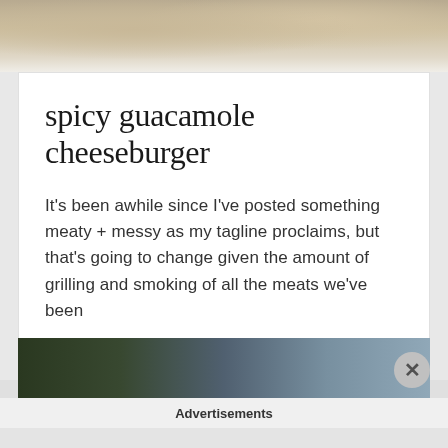[Figure (photo): Partial photo of a sandwich or burger with bread and meat visible, cropped at top of page]
spicy guacamole cheeseburger
It's been awhile since I've posted something meaty + messy as my tagline proclaims, but that's going to change given the amount of grilling and smoking of all the meats we've been
July 16, 2017
[Figure (photo): Partial photo of an outdoor scene with trees and a building, shown at bottom of page, with a close/dismiss button overlay]
Advertisements